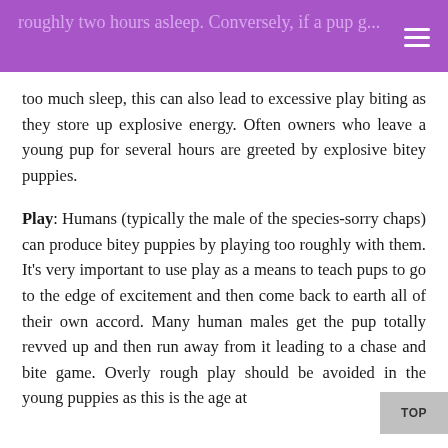roughly two hours asleep. Conversely, if a pup g...
too much sleep, this can also lead to excessive play biting as they store up explosive energy. Often owners who leave a young pup for several hours are greeted by explosive bitey puppies.
Play: Humans (typically the male of the species-sorry chaps) can produce bitey puppies by playing too roughly with them. It’s very important to use play as a means to teach pups to go to the edge of excitement and then come back to earth all of their own accord. Many human males get the pup totally revved up and then run away from it leading to a chase and bite game. Overly rough play should be avoided in the young puppies as this is the age at